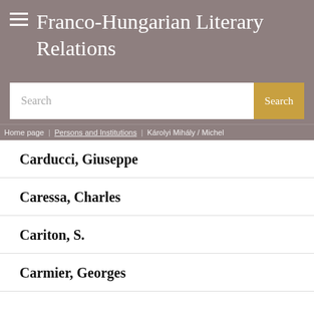Franco-Hungarian Literary Relations
Search
Search
Home page / Persons and Institutions / Károlyi Mihály / Michel
Carducci, Giuseppe
Caressa, Charles
Cariton, S.
Carmier, Georges